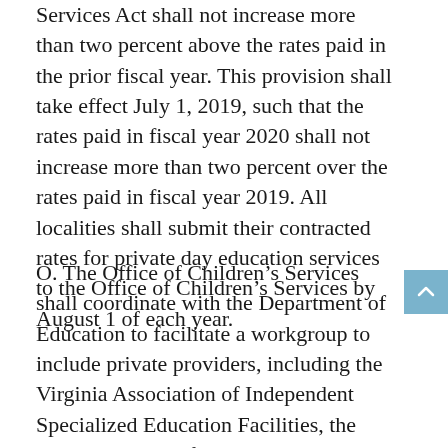Services Act shall not increase more than two percent above the rates paid in the prior fiscal year. This provision shall take effect July 1, 2019, such that the rates paid in fiscal year 2020 shall not increase more than two percent over the rates paid in fiscal year 2019. All localities shall submit their contracted rates for private day education services to the Office of Children's Services by August 1 of each year.
O. The Office of Children's Services shall coordinate with the Department of Education to facilitate a workgroup to include private providers, including the Virginia Association of Independent Specialized Education Facilities, the Virginia Council for Private Education, the Virginia Association of Independent Schools, the Virginia Coalition of Private Provider Associations, and the Virginia Association of Community Services Boards, local school divisions, stakeholder groups, and parent representatives to identify and define outcome measures to assess